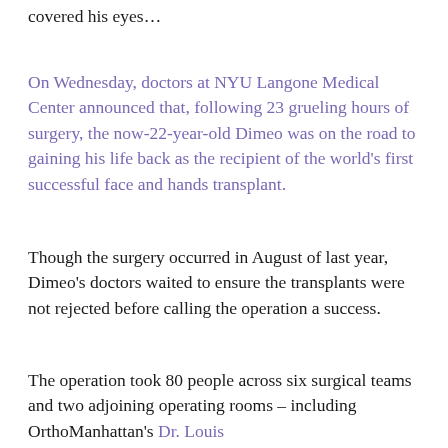covered his eyes…
On Wednesday, doctors at NYU Langone Medical Center announced that, following 23 grueling hours of surgery, the now-22-year-old Dimeo was on the road to gaining his life back as the recipient of the world's first successful face and hands transplant.
Though the surgery occurred in August of last year, Dimeo's doctors waited to ensure the transplants were not rejected before calling the operation a success.
The operation took 80 people across six surgical teams and two adjoining operating rooms – including OrthoManhattan's Dr. Louis